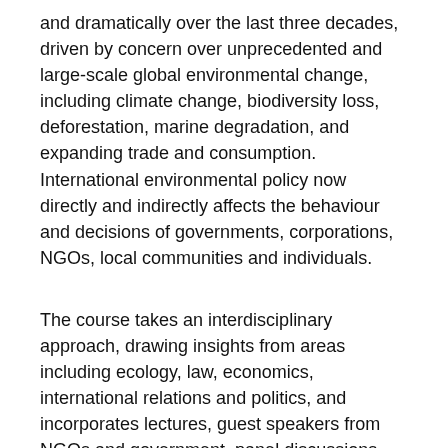and dramatically over the last three decades, driven by concern over unprecedented and large-scale global environmental change, including climate change, biodiversity loss, deforestation, marine degradation, and expanding trade and consumption. International environmental policy now directly and indirectly affects the behaviour and decisions of governments, corporations, NGOs, local communities and individuals.
The course takes an interdisciplinary approach, drawing insights from areas including ecology, law, economics, international relations and politics, and incorporates lectures, guest speakers from NGOs and government, panel discussions, debates and workshops, with an emphasis on understanding the real-world dynamics of policy formation and debate.
The course will cover the nature of IEP; its development over recent decades; the actors and institutions which